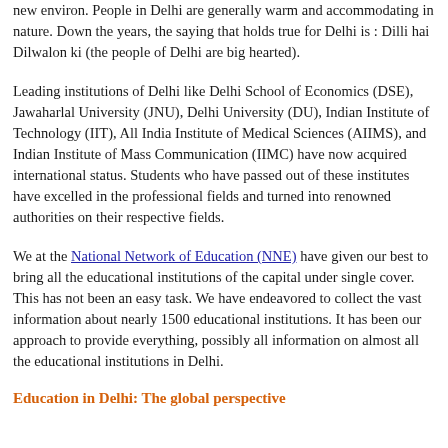new environ. People in Delhi are generally warm and accommodating in nature. Down the years, the saying that holds true for Delhi is : Dilli hai Dilwalon ki (the people of Delhi are big hearted).
Leading institutions of Delhi like Delhi School of Economics (DSE), Jawaharlal University (JNU), Delhi University (DU), Indian Institute of Technology (IIT), All India Institute of Medical Sciences (AIIMS), and Indian Institute of Mass Communication (IIMC) have now acquired international status. Students who have passed out of these institutes have excelled in the professional fields and turned into renowned authorities on their respective fields.
We at the National Network of Education (NNE) have given our best to bring all the educational institutions of the capital under single cover. This has not been an easy task. We have endeavored to collect the vast information about nearly 1500 educational institutions. It has been our approach to provide everything, possibly all information on almost all the educational institutions in Delhi.
Education in Delhi: The global perspective